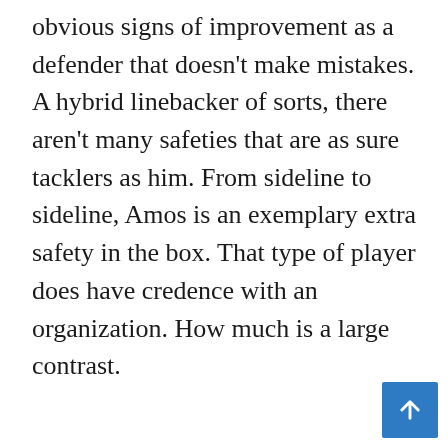obvious signs of improvement as a defender that doesn't make mistakes. A hybrid linebacker of sorts, there aren't many safeties that are as sure tacklers as him. From sideline to sideline, Amos is an exemplary extra safety in the box. That type of player does have credence with an organization. How much is a large contrast.